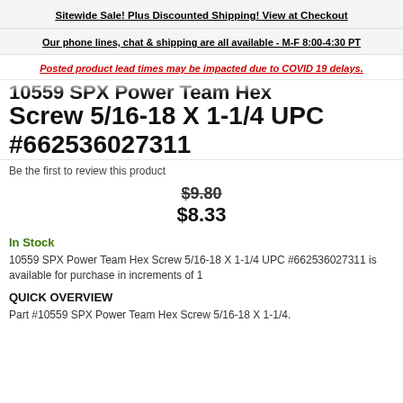Sitewide Sale! Plus Discounted Shipping! View at Checkout
Our phone lines, chat & shipping are all available - M-F 8:00-4:30 PT
Posted product lead times may be impacted due to COVID 19 delays.
10559 SPX Power Team Hex Screw 5/16-18 X 1-1/4 UPC #662536027311
Be the first to review this product
$9.80
$8.33
In Stock
10559 SPX Power Team Hex Screw 5/16-18 X 1-1/4 UPC #662536027311 is available for purchase in increments of 1
QUICK OVERVIEW
Part #10559 SPX Power Team Hex Screw 5/16-18 X 1-1/4.